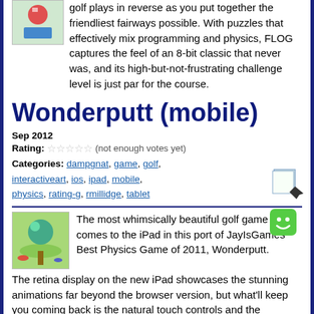golf plays in reverse as you put together the friendliest fairways possible. With puzzles that effectively mix programming and physics, FLOG captures the feel of an 8-bit classic that never was, and its high-but-not-frustrating challenge level is just par for the course.
Wonderputt (mobile)
Sep 2012
Rating: ☆☆☆☆☆ (not enough votes yet)
Categories: dampgnat, game, golf, interactiveart, ios, ipad, mobile, physics, rating-g, rmillidge, tablet
The most whimsically beautiful golf game ever comes to the iPad in this port of JayIsGames' Best Physics Game of 2011, Wonderputt. The retina display on the new iPad showcases the stunning animations far beyond the browser version, but what'll keep you coming back is the natural touch controls and the challenge of completing the rainbow.